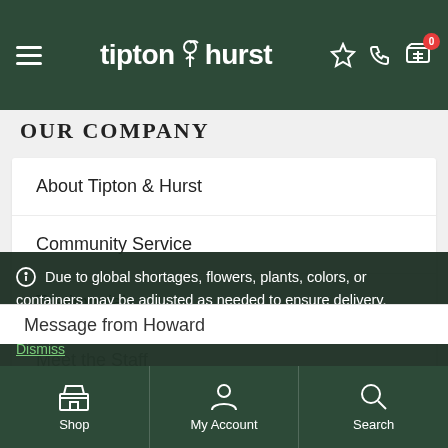tipton hurst — navigation header with hamburger menu, star, phone, and cart icons
OUR COMPANY
About Tipton & Hurst
Community Service
Testimonials
Meet the Staff (partial)
Due to global shortages, flowers, plants, colors, or containers may be adjusted as needed to ensure delivery. Substitutions will be of greater or equal value.
Dismiss
Message from Howard
Shop | My Account | Search